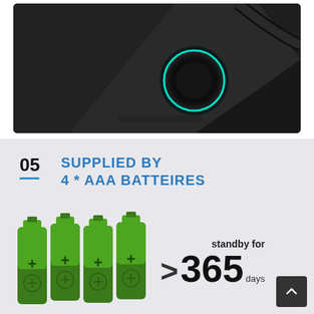[Figure (photo): Close-up photo of a dark black electronic device/lock with a glowing teal/cyan circular ring indicator on its surface, angular geometric design, black background.]
05
SUPPLIED BY
4 * AAA BATTEIRES
[Figure (illustration): Four green AAA batteries with black bases and plus (+) terminals on top, arranged side by side.]
standby for
> 365 days